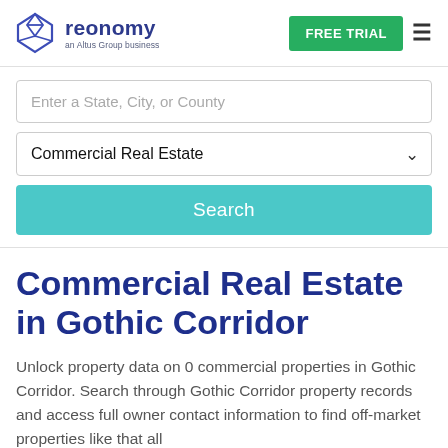[Figure (logo): Reonomy logo with geometric diamond/box icon and text 'reonomy an Altus Group business']
Enter a State, City, or County
Commercial Real Estate
Search
Commercial Real Estate in Gothic Corridor
Unlock property data on 0 commercial properties in Gothic Corridor. Search through Gothic Corridor property records and access full owner contact information to find off-market properties like that all